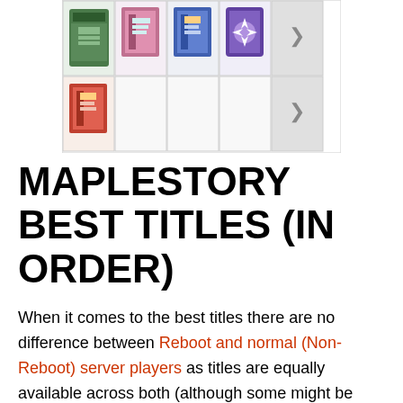[Figure (screenshot): A row of inventory/item icons from MapleStory showing various book/skill items in a grid layout with navigation arrows. Top row has 4 colored items, bottom row has 1 colored item and 3 empty slots, plus a right arrow.]
MAPLESTORY BEST TITLES (IN ORDER)
When it comes to the best titles there are no difference between Reboot and normal (Non-Reboot) server players as titles are equally available across both (although some might be harder for Reboot players to reach the damage required to obtain them). The titles below are presented in order of their stat strength noting that some are limited to certain events and may not be available to players until the events are offered again but are permanent to your